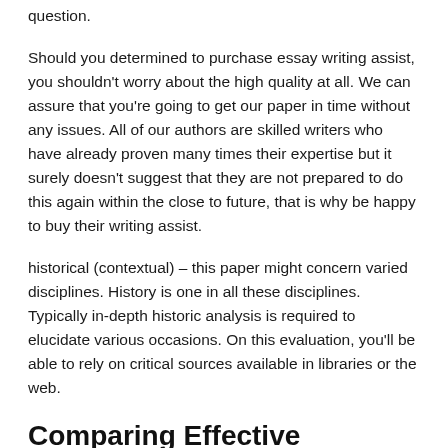question.
Should you determined to purchase essay writing assist, you shouldn't worry about the high quality at all. We can assure that you're going to get our paper in time without any issues. All of our authors are skilled writers who have already proven many times their expertise but it surely doesn't suggest that they are not prepared to do this again within the close to future, that is why be happy to buy their writing assist.
historical (contextual) – this paper might concern varied disciplines. History is one in all these disciplines. Typically in-depth historic analysis is required to elucidate various occasions. On this evaluation, you'll be able to rely on critical sources available in libraries or the web.
Comparing Effective literature essay samples Products